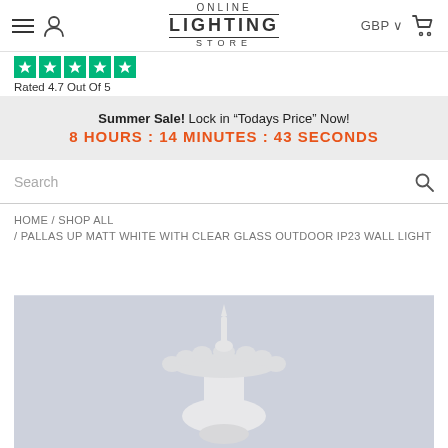Online Lighting Store — GBP navigation header
[Figure (logo): Online Lighting Store logo with hamburger menu and user icon on left, GBP and cart on right]
[Figure (infographic): Trustpilot green star rating — Rated 4.7 Out Of 5]
Summer Sale! Lock in "Todays Price" Now! 8 Hours : 14 Minutes : 43 Seconds
Search
HOME / SHOP ALL
/ PALLAS UP MATT WHITE WITH CLEAR GLASS OUTDOOR IP23 WALL LIGHT
[Figure (photo): White outdoor wall light (Pallas Up Matt White with Clear Glass Outdoor IP23) photographed against a light blue-grey background]